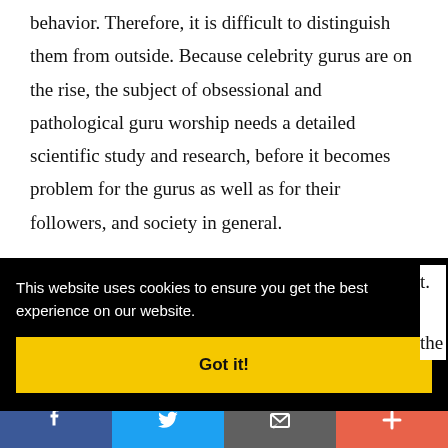behavior. Therefore, it is difficult to distinguish them from outside. Because celebrity gurus are on the rise, the subject of obsessional and pathological guru worship needs a detailed scientific study and research, before it becomes problem for the gurus as well as for their followers, and society in general.
This website uses cookies to ensure you get the best experience on our website.
Got it!
[Figure (infographic): Social sharing bar with Facebook (blue), Twitter (light blue), Email (grey), and Plus/Add (coral) buttons at the bottom of the page.]